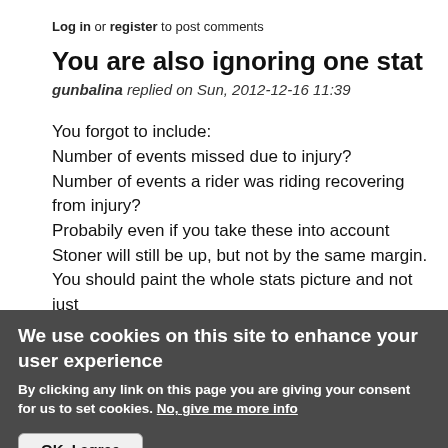Log in or register to post comments
You are also ignoring one stat
gunbalina replied on Sun, 2012-12-16 11:39
You forgot to include:
Number of events missed due to injury?
Number of events a rider was riding recovering from injury?
Probabily even if you take these into account Stoner will still be up, but not by the same margin.
You should paint the whole stats picture and not just
We use cookies on this site to enhance your user experience
By clicking any link on this page you are giving your consent for us to set cookies. No, give me more info
OK, I agree